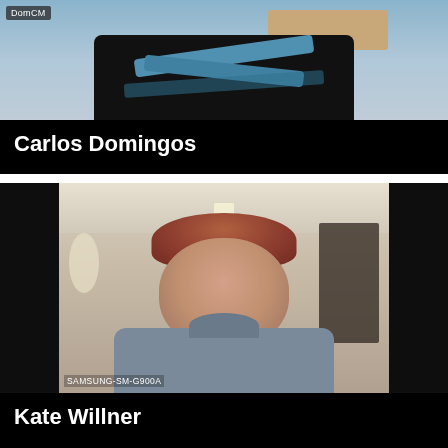[Figure (screenshot): Video conference screenshot showing Carlos Domingos. The video shows a person in a dark t-shirt with blue/white graphic design. A 'DomCM' label appears in the top-left of the video frame.]
Carlos Domingos
[Figure (screenshot): Video conference screenshot showing Kate Willner. The video shows a middle-aged woman with short reddish-brown hair wearing a gray turtleneck sweater, centered in the frame with dark panels on either side. A 'SAMSUNG-SM-G900A' device label appears in the bottom-left.]
Kate Willner